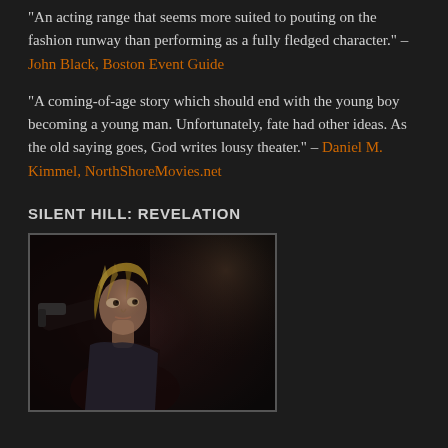“An acting range that seems more suited to pouting on the fashion runway than performing as a fully fledged character.” – John Black, Boston Event Guide
“A coming-of-age story which should end with the young boy becoming a young man. Unfortunately, fate had other ideas. As the old saying goes, God writes lousy theater.” – Daniel M. Kimmel, NorthShoreMovies.net
SILENT HILL: REVELATION
[Figure (photo): A young blonde woman holding a gun, looking cautiously to the side, in a dark scene from Silent Hill: Revelation]